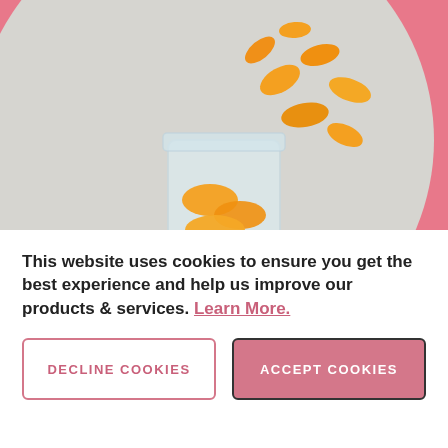[Figure (photo): Overhead view of orange/mandarin segments spilling out of a glass jar onto a light grey surface, set against a pink background with a large light grey circle shape]
HOW DOES IT WORK?
This website uses cookies to ensure you get the best experience and help us improve our products & services. Learn More.
DECLINE COOKIES
ACCEPT COOKIES